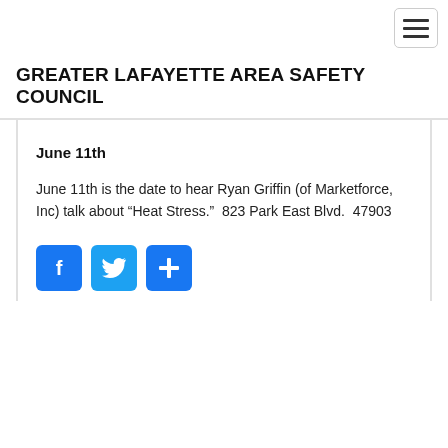GREATER LAFAYETTE AREA SAFETY COUNCIL
June 11th
June 11th is the date to hear Ryan Griffin (of Marketforce, Inc) talk about “Heat Stress.”  823 Park East Blvd.  47903
[Figure (other): Social sharing icons: Facebook (blue F), Twitter (blue bird), and a blue plus/share button]